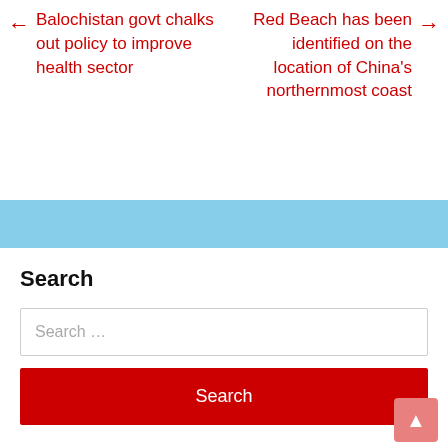← Balochistan govt chalks out policy to improve health sector
Red Beach has been identified on the location of China's northernmost coast →
Search
Search …
Search